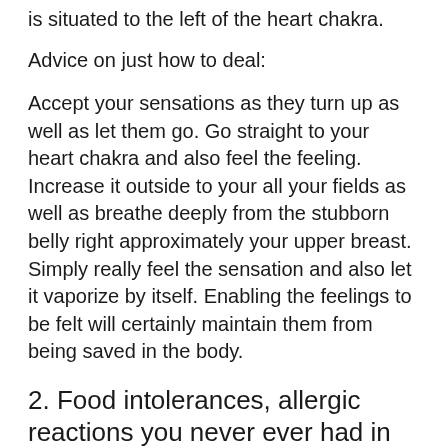is situated to the left of the heart chakra.
Advice on just how to deal:
Accept your sensations as they turn up as well as let them go. Go straight to your heart chakra and also feel the feeling. Increase it outside to your all your fields as well as breathe deeply from the stubborn belly right approximately your upper breast. Simply really feel the sensation and also let it vaporize by itself. Enabling the feelings to be felt will certainly maintain them from being saved in the body.
2. Food intolerances, allergic reactions you never ever had in the past.